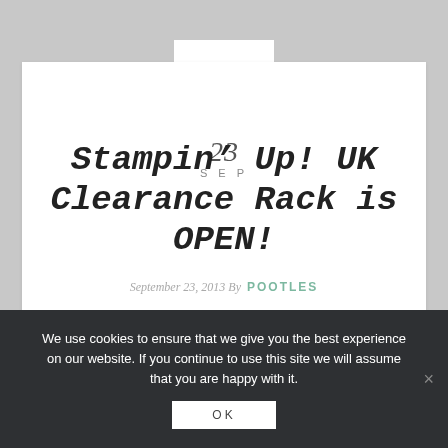23
SEP
Stampin’ Up! UK Clearance Rack is OPEN!
September 23, 2013 By POOTLES
We use cookies to ensure that we give you the best experience on our website. If you continue to use this site we will assume that you are happy with it.
OK